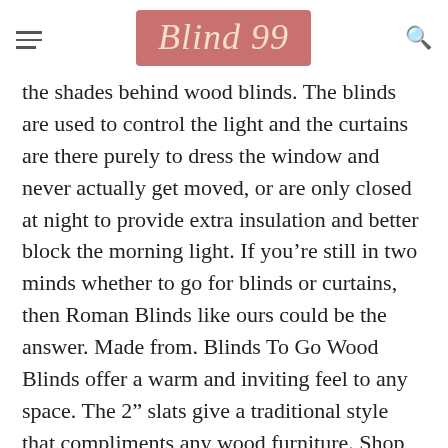Blind 99
the shades behind wood blinds. The blinds are used to control the light and the curtains are there purely to dress the window and never actually get moved, or are only closed at night to provide extra insulation and better block the morning light. If you’re still in two minds whether to go for blinds or curtains, then Roman Blinds like ours could be the answer. Made from. Blinds To Go Wood Blinds offer a warm and inviting feel to any space. The 2” slats give a traditional style that compliments any wood furniture. Shop our selection of customizable real wood blinds at